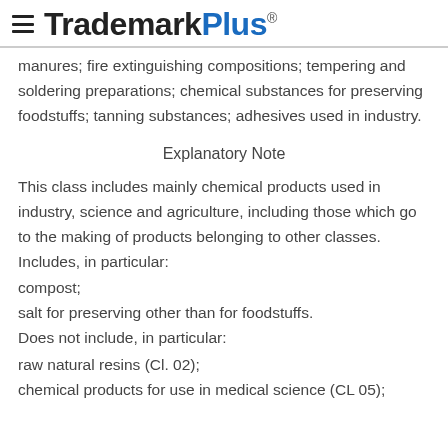TrademarkPlus®
manures; fire extinguishing compositions; tempering and soldering preparations; chemical substances for preserving foodstuffs; tanning substances; adhesives used in industry.
Explanatory Note
This class includes mainly chemical products used in industry, science and agriculture, including those which go to the making of products belonging to other classes. Includes, in particular:
compost;
salt for preserving other than for foodstuffs.
Does not include, in particular:
raw natural resins (Cl. 02);
chemical products for use in medical science (CL 05);